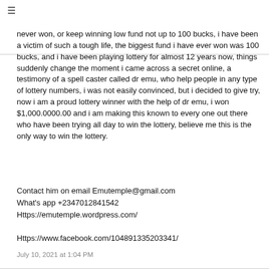≡
never won, or keep winning low fund not up to 100 bucks, i have been a victim of such a tough life, the biggest fund i have ever won was 100 bucks, and i have been playing lottery for almost 12 years now, things suddenly change the moment i came across a secret online, a testimony of a spell caster called dr emu, who help people in any type of lottery numbers, i was not easily convinced, but i decided to give try, now i am a proud lottery winner with the help of dr emu, i won $1,000.0000.00 and i am making this known to every one out there who have been trying all day to win the lottery, believe me this is the only way to win the lottery.
Contact him on email Emutemple@gmail.com
What's app +2347012841542
Https://emutemple.wordpress.com/
Https://www.facebook.com/104891335203341/
July 10, 2021 at 1:04 PM